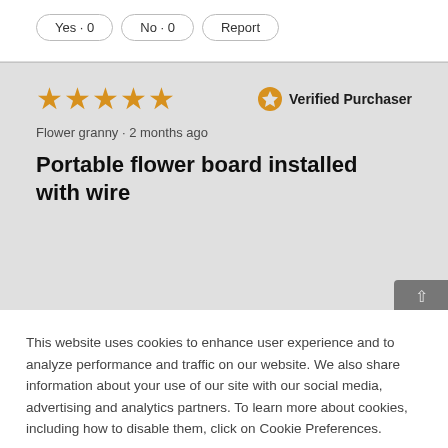Yes · 0   No · 0   Report
★★★★★  Verified Purchaser
Flower granny · 2 months ago
Portable flower board installed with wire
This website uses cookies to enhance user experience and to analyze performance and traffic on our website. We also share information about your use of our site with our social media, advertising and analytics partners. To learn more about cookies, including how to disable them, click on Cookie Preferences.
Cookie Preferences   Got It
Helpful?